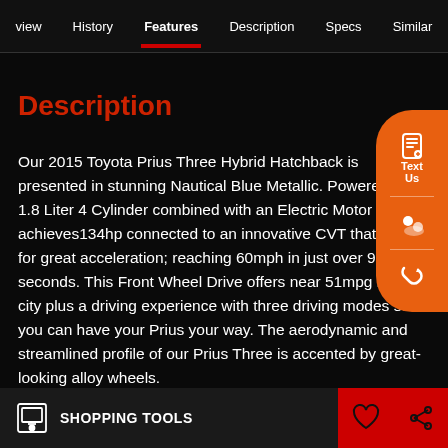view  History  Features  Description  Specs  Similar
Description
Our 2015 Toyota Prius Three Hybrid Hatchback is presented in stunning Nautical Blue Metallic. Powered by a 1.8 Liter 4 Cylinder combined with an Electric Motor that achieves134hp connected to an innovative CVT that allows for great acceleration; reaching 60mph in just over 9 seconds. This Front Wheel Drive offers near 51mpg in the city plus a driving experience with three driving modes so you can have your Prius your way. The aerodynamic and streamlined profile of our Prius Three is accented by great-looking alloy wheels.
SHOPPING TOOLS